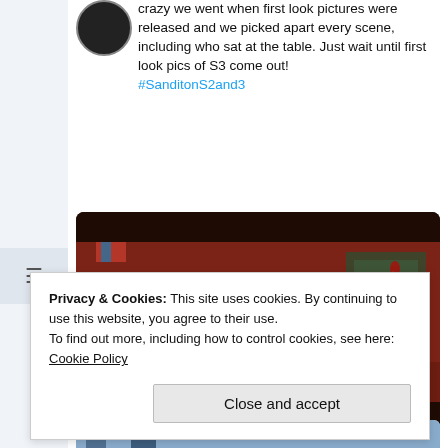crazy we went when first look pictures were released and we picked apart every scene, including who sat at the table. Just wait until first look pics of S3 come out! #SanditonS2and3
[Figure (photo): Scene from a period drama showing people seated at a long candlelit dinner table, raising glasses in a toast, with warm lighting and period costumes.]
Privacy & Cookies: This site uses cookies. By continuing to use this website, you agree to their use. To find out more, including how to control cookies, see here: Cookie Policy
nothing to do at work.
[Figure (photo): Partial view of an image at the bottom of the page.]